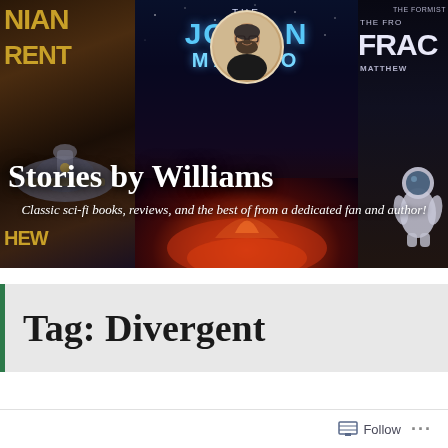[Figure (photo): Banner image for 'Stories by Williams' blog showing sci-fi book covers (The Jovian Manifesto, The Formist Series: The Fracture) on left and right, with a circular author photo of a bearded man in the center, overlaid with the blog title and subtitle text.]
Stories by Williams
Classic sci-fi books, reviews, and the best of from a dedicated fan and author!
Tag: Divergent
Follow ...